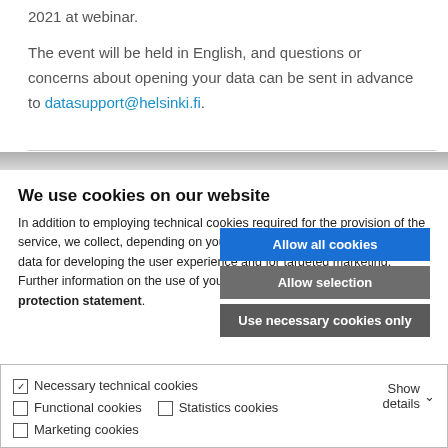2021 at webinar.
The event will be held in English, and questions or concerns about opening your data can be sent in advance to datasupport@helsinki.fi.
We use cookies on our website
In addition to employing technical cookies required for the provision of the service, we collect, depending on your settings, statistical data as well as data for developing the user experience and for targeted marketing. Further information on the use of your data is available in our data protection statement.
Allow all cookies
Allow selection
Use necessary cookies only
☑ Necessary technical cookies   □ Functional cookies   □ Statistics cookies   □ Marketing cookies   Show details